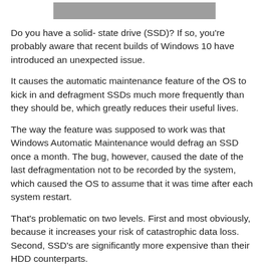[Figure (other): Partial image visible at top of page — gray bar/screenshot fragment]
Do you have a solid- state drive (SSD)? If so, you're probably aware that recent builds of Windows 10 have introduced an unexpected issue.
It causes the automatic maintenance feature of the OS to kick in and defragment SSDs much more frequently than they should be, which greatly reduces their useful lives.
The way the feature was supposed to work was that Windows Automatic Maintenance would defrag an SSD once a month. The bug, however, caused the date of the last defragmentation not to be recorded by the system, which caused the OS to assume that it was time after each system restart.
That's problematic on two levels. First and most obviously, because it increases your risk of catastrophic data loss. Second, SSD's are significantly more expensive than their HDD counterparts.